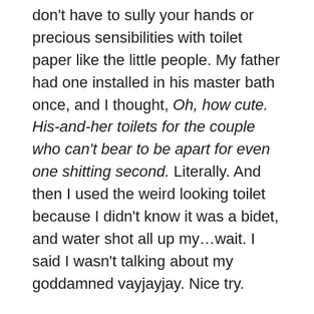don't have to sully your hands or precious sensibilities with toilet paper like the little people. My father had one installed in his master bath once, and I thought, Oh, how cute. His-and-her toilets for the couple who can't bear to be apart for even one shitting second. Literally. And then I used the weird looking toilet because I didn't know it was a bidet, and water shot all up my…wait. I said I wasn't talking about my goddamned vayjayjay. Nice try.
Anyway, my current toilet has a vicious pressure when it's flushed. Water blasts out of the front at the speed of light, and I swear I don't have a single wrinkle in the privates anymore because of the defacto laser treatments. And the shock of an unexpected tepid